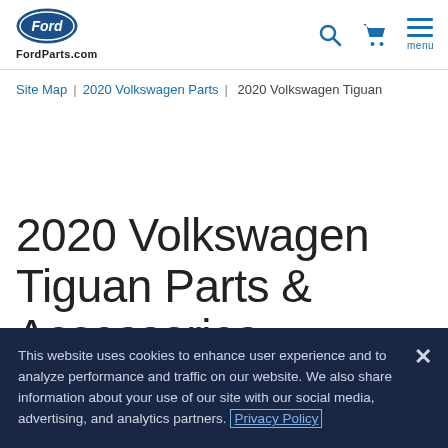[Figure (logo): Ford oval logo with 'FordParts.com' text below]
Site Map | 2020 Volkswagen Parts | 2020 Volkswagen Tiguan
2020 Volkswagen Tiguan Parts & Accessories
This website uses cookies to enhance user experience and to analyze performance and traffic on our website. We also share information about your use of our site with our social media, advertising, and analytics partners. Privacy Policy